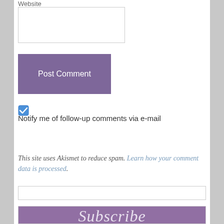Website
[Figure (screenshot): Website input text field (empty)]
[Figure (screenshot): Post Comment button (purple/mauve background, white text)]
[Figure (screenshot): Checked checkbox (blue with white checkmark)]
Notify me of follow-up comments via e-mail
This site uses Akismet to reduce spam. Learn how your comment data is processed.
[Figure (screenshot): Search input box (empty)]
[Figure (screenshot): Subscribe banner with cursive white text on purple background]